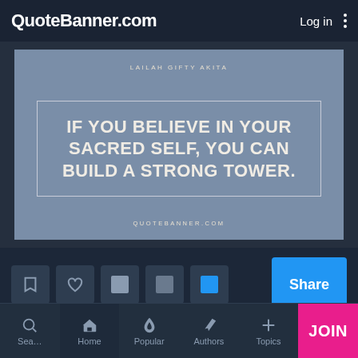QuoteBanner.com   Log in
[Figure (illustration): Quote banner image with steel-blue background. Author name 'LAILAH GIFTY AKITA' at top, bordered box containing quote text 'IF YOU BELIEVE IN YOUR SACRED SELF, YOU CAN BUILD A STRONG TOWER.' in large bold uppercase white text, 'QUOTEBANNER.COM' at bottom.]
[Figure (other): Action bar with bookmark icon, heart icon, two grey square icons, one blue square icon, and a blue Share button.]
If you believe in your sacred self, you can build a strong tower.
Home   Popular   Authors   Topics   JOIN